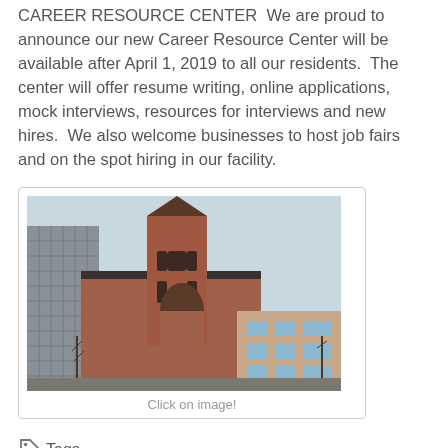CAREER RESOURCE CENTER  We are proud to announce our new Career Resource Center will be available after April 1, 2019 to all our residents.  The center will offer resume writing, online applications, mock interviews, resources for interviews and new hires.  We also welcome businesses to host job fairs and on the spot hiring in our facility.
[Figure (photo): Photograph of a large red brick church building with a tall pointed tower, alongside modern commercial buildings, taken from street level in an urban setting.]
Click on image!
Tags